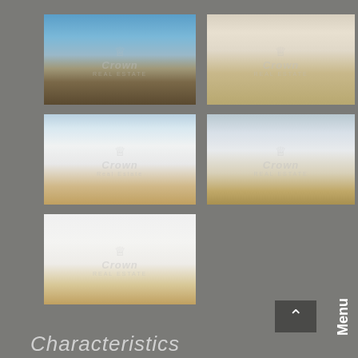[Figure (photo): Aerial/rooftop view of city with mountains in background, blue sky with clouds]
[Figure (photo): Interior apartment photo showing open plan living area with wooden floor]
[Figure (photo): Modern white kitchen with large window and city view]
[Figure (photo): Open plan living room with large sliding glass doors and wooden floor]
[Figure (photo): Empty room with wooden floor]
Menu
Characteristics